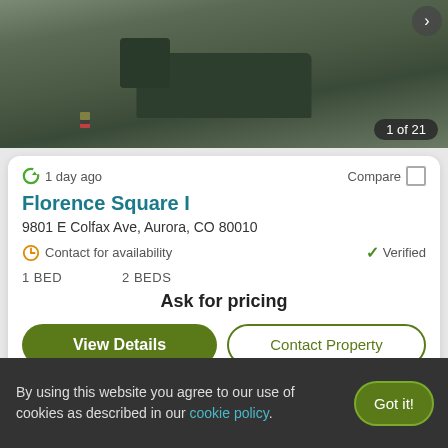[Figure (photo): Interior photo of a bedroom with a dark bed frame and gray bedding, carpeted floor, dark furniture. Counter shows '1 of 21'.]
1 day ago
Compare
Florence Square I
9801 E Colfax Ave, Aurora, CO 80010
Contact for availability
Verified
1 BED   2 BEDS
Ask for pricing
View Details
Contact Property
Resident Rated
By using this website you agree to our use of cookies as described in our cookie policy.
Got it!